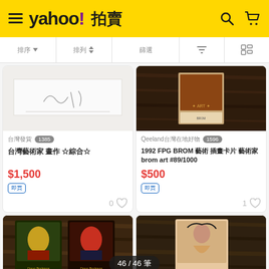yahoo! 拍賣
排序 排序 篩選
[Figure (photo): Product image - white background with pencil sketch/handwriting]
台灣發貨 1385
台灣藝術家 畫作 ☆綜合☆
$1,500
[Figure (photo): Product image - dark background with vintage card art showing 1992 FPG BROM]
Qeeland台灣在地好物 1596
1992 FPG BROM 藝術 插畫卡片 藝術家 brom art #89/1000
$500
[Figure (photo): Bottom left product - dark wood background with Doug Beekman card art]
[Figure (photo): Bottom right product - dark wood background with illustrated card]
46 / 46 筆